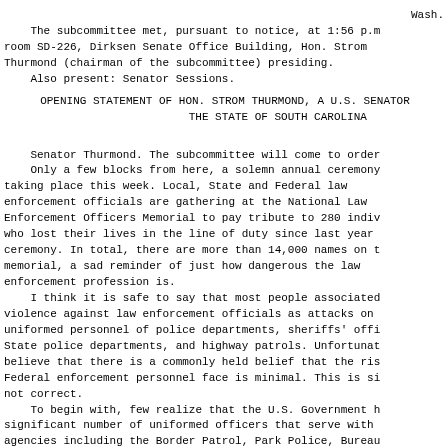Wash.
The subcommittee met, pursuant to notice, at 1:56 p.m room SD-226, Dirksen Senate Office Building, Hon. Strom Thurmond (chairman of the subcommittee) presiding.
    Also present: Senator Sessions.
OPENING STATEMENT OF HON. STROM THURMOND, A U.S. SENATOR THE STATE OF SOUTH CAROLINA
Senator Thurmond. The subcommittee will come to order.
    Only a few blocks from here, a solemn annual ceremony taking place this week. Local, State and Federal law enforcement officials are gathering at the National Law Enforcement Officers Memorial to pay tribute to 280 indiv who lost their lives in the line of duty since last year ceremony. In total, there are more than 14,000 names on t memorial, a sad reminder of just how dangerous the law enforcement profession is.
    I think it is safe to say that most people associated violence against law enforcement officials as attacks on uniformed personnel of police departments, sheriffs' offi State police departments, and highway patrols. Unfortunat believe that there is a commonly held belief that the ris Federal enforcement personnel face is minimal. This is si not correct.
    To begin with, few realize that the U.S. Government h significant number of uniformed officers that serve with agencies including the Border Patrol, Park Police, Bureau Prisons, and Customs Service. These men and women expose themselves to risk day in and day out as they conduct the